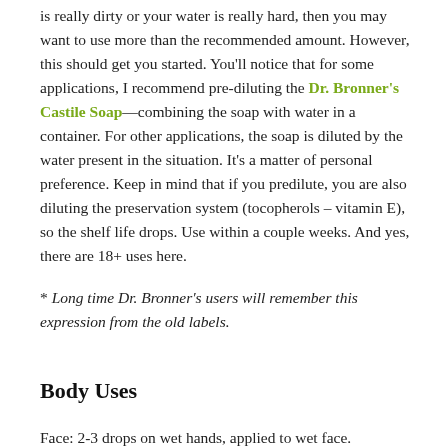is really dirty or your water is really hard, then you may want to use more than the recommended amount. However, this should get you started. You'll notice that for some applications, I recommend pre-diluting the Dr. Bronner's Castile Soap—combining the soap with water in a container. For other applications, the soap is diluted by the water present in the situation. It's a matter of personal preference. Keep in mind that if you predilute, you are also diluting the preservation system (tocopherols – vitamin E), so the shelf life drops. Use within a couple weeks. And yes, there are 18+ uses here.
* Long time Dr. Bronner's users will remember this expression from the old labels.
Body Uses
Face: 2-3 drops on wet hands, applied to wet face.
I Wash my Face with Castile Soap